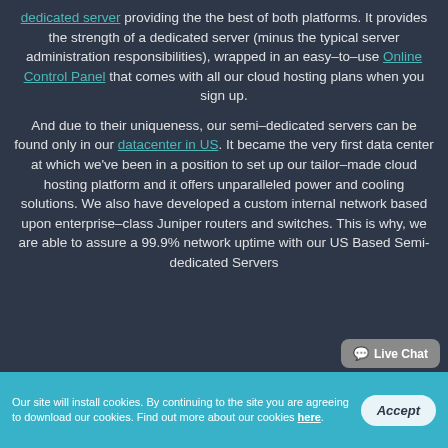dedicated server providing the the best of both platforms. It provides the strength of a dedicated server (minus the typical server administration responsibilities), wrapped in an easy–to–use Online Control Panel that comes with all our cloud hosting plans when you sign up.

And due to their uniqueness, our semi–dedicated servers can be found only in our datacenter in US. It became the very first data center at which we've been in a position to set up our tailor–made cloud hosting platform and it offers unparalleled power and cooling solutions. We also have developed a custom internal network based upon enterprise–class Juniper routers and switches. This is why, we are able to assure a 99.9% network uptime with our US Based Semi-dedicated Servers
Our site will install cookies. By continuing to the site you are agreeing to download our cookies. Find out more about our cookies here.